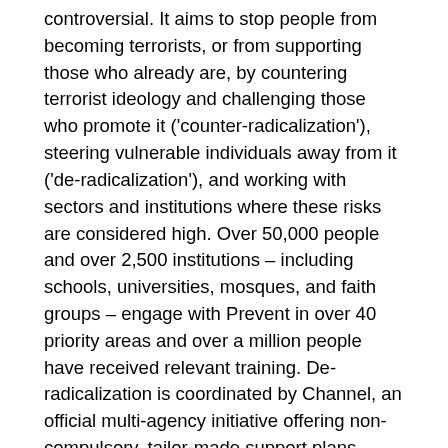controversial. It aims to stop people from becoming terrorists, or from supporting those who already are, by countering terrorist ideology and challenging those who promote it ('counter-radicalization'), steering vulnerable individuals away from it ('de-radicalization'), and working with sectors and institutions where these risks are considered high. Over 50,000 people and over 2,500 institutions – including schools, universities, mosques, and faith groups – engage with Prevent in over 40 priority areas and over a million people have received relevant training. De-radicalization is coordinated by Channel, an official multi-agency initiative offering non-compulsory, tailor-made support plans based on counselling and encouragement of approved activities, to those willing to receive them. On 22 January 2019 the security minister, Ben Wallace,